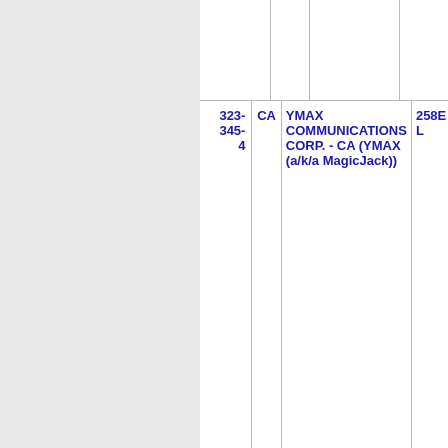| Number | State | Name | Address |
| --- | --- | --- | --- |
| 323-345-4 | CA | YMAX COMMUNICATIONS CORP. - CA (YMAX (a/k/a MagicJack)) | 258E L |
| Thousands block for 323-375 |  |  |  |
| 323-375-6 | CA | YMAX COMMUNICATIONS CORP. - CA (YMAX (a/k/a MagicJack)) | 258E L |